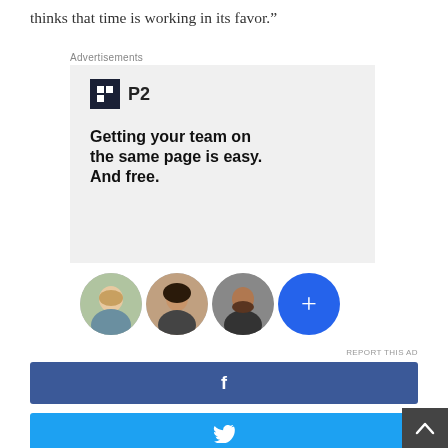thinks that time is working in its favor.”
[Figure (other): Advertisement banner for P2 (WordPress team collaboration tool) with logo, headline 'Getting your team on the same page is easy. And free.' and three avatar photos plus a blue plus button]
[Figure (other): Facebook share button (dark blue with 'f' icon)]
[Figure (other): Twitter share button (light blue with bird icon)]
[Figure (other): Back to top button (dark grey with up arrow, bottom right corner)]